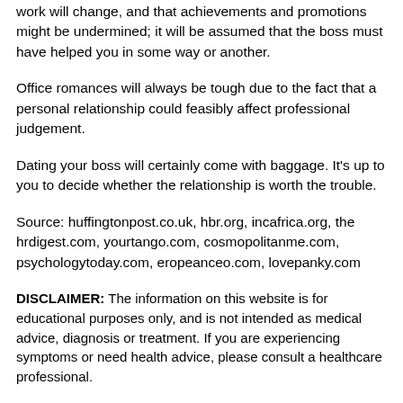work will change, and that achievements and promotions might be undermined; it will be assumed that the boss must have helped you in some way or another.
Office romances will always be tough due to the fact that a personal relationship could feasibly affect professional judgement.
Dating your boss will certainly come with baggage. It's up to you to decide whether the relationship is worth the trouble.
Source: huffingtonpost.co.uk, hbr.org, incafrica.org, the hrdigest.com, yourtango.com, cosmopolitanme.com, psychologytoday.com, eropeanceo.com, lovepanky.com
DISCLAIMER: The information on this website is for educational purposes only, and is not intended as medical advice, diagnosis or treatment. If you are experiencing symptoms or need health advice, please consult a healthcare professional.